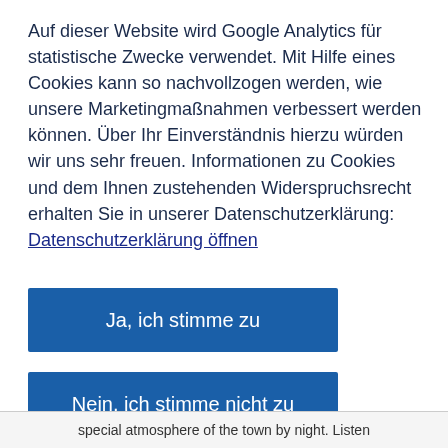Auf dieser Website wird Google Analytics für statistische Zwecke verwendet. Mit Hilfe eines Cookies kann so nachvollzogen werden, wie unsere Marketingmaßnahmen verbessert werden können. Über Ihr Einverständnis hierzu würden wir uns sehr freuen. Informationen zu Cookies und dem Ihnen zustehenden Widerspruchsrecht erhalten Sie in unserer Datenschutzerklärung: Datenschutzerklärung öffnen
Ja, ich stimme zu
Nein, ich stimme nicht zu
special atmosphere of the town by night. Listen